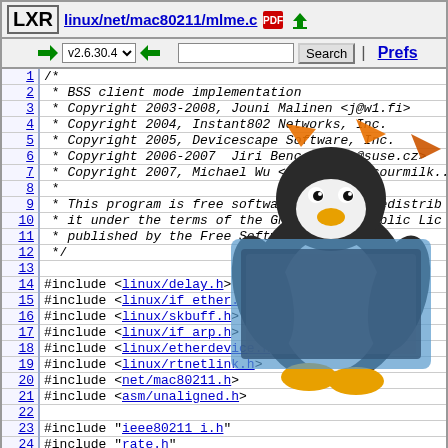LXR linux/net/mac80211/mlme.c
[Figure (screenshot): LXR source code browser navigation bar with version selector v2.6.30.4, search box, Search button, and Prefs link]
[Figure (illustration): Tux the Linux penguin mascot overlaid on the code area]
/*
 * BSS client mode implementation
 * Copyright 2003-2008, Jouni Malinen <j@w1.fi>
 * Copyright 2004, Instant802 Networks, Inc.
 * Copyright 2005, Devicescape Software, Inc.
 * Copyright 2006-2007  Jiri Benc <jbenc@suse.cz>
 * Copyright 2007, Michael Wu <flamingice@sourmilk..
 *
 * This program is free software; you can redistrib
 * it under the terms of the GNU General Public Lic
 * published by the Free Software Foundation.
 */

#include <linux/delay.h>
#include <linux/if_ether.h>
#include <linux/skbuff.h>
#include <linux/if_arp.h>
#include <linux/etherdevice.h>
#include <linux/rtnetlink.h>
#include <net/mac80211.h>
#include <asm/unaligned.h>

#include "ieee80211_i.h"
#include "rate.h"
#include "led.h"